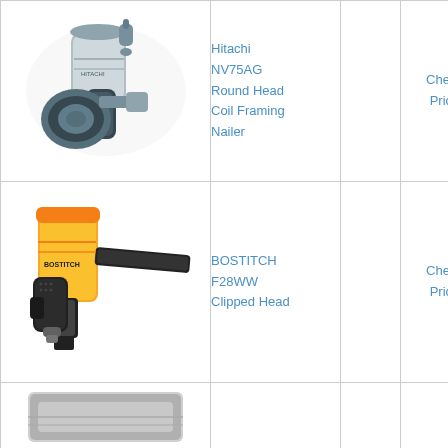[Figure (photo): Hitachi NV75AG Round Head Coil Framing Nailer product photo]
Hitachi NV75AG Round Head Coil Framing Nailer
Check Price
[Figure (photo): BOSTITCH F28WW Clipped Head framing nailer product photo, yellow and black]
BOSTITCH F28WW Clipped Head
Check Price
[Figure (photo): Partial view of another nailer product at bottom of page]